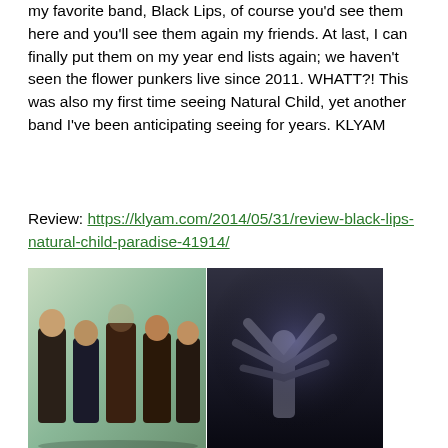my favorite band, Black Lips, of course you'd see them here and you'll see them again my friends. At last, I can finally put them on my year end lists again; we haven't seen the flower punkers live since 2011. WHATT?! This was also my first time seeing Natural Child, yet another band I've been anticipating seeing for years. KLYAM
Review: https://klyam.com/2014/05/31/review-black-lips-natural-child-paradise-41914/
[Figure (photo): Two side-by-side photos: left shows a group of four people (band members) posed against a light green background; right shows a performer with arms raised against a dark background with dramatic lighting.]
5) Black Lips, The King Khan & BBQ Show, Coke Weed @ Port City Music Hall (9/27) – I always love seeing a show at a venue I've never been to before, even if it's a traditional music hall, it's still new to me. I haven't been in Portland (Maine) for a while, so that's an added bonus. More importantly, this is a